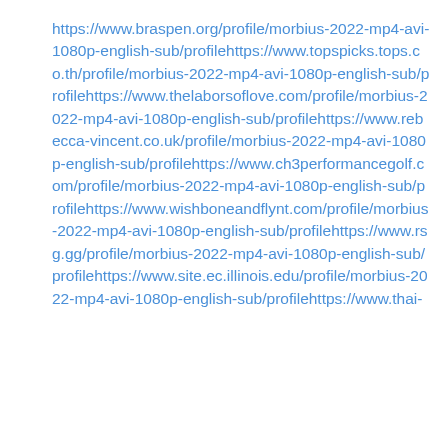https://www.braspen.org/profile/morbius-2022-mp4-avi-1080p-english-sub/profilehttps://www.topspicks.tops.co.th/profile/morbius-2022-mp4-avi-1080p-english-sub/profilehttps://www.thelaborsoflove.com/profile/morbius-2022-mp4-avi-1080p-english-sub/profilehttps://www.rebecca-vincent.co.uk/profile/morbius-2022-mp4-avi-1080p-english-sub/profilehttps://www.ch3performancegolf.com/profile/morbius-2022-mp4-avi-1080p-english-sub/profilehttps://www.wishboneandflynt.com/profile/morbius-2022-mp4-avi-1080p-english-sub/profilehttps://www.rsg.gg/profile/morbius-2022-mp4-avi-1080p-english-sub/profilehttps://www.site.ec.illinois.edu/profile/morbius-2022-mp4-avi-1080p-english-sub/profilehttps://www.thai-